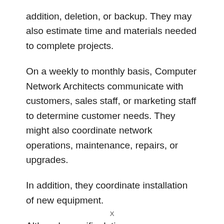addition, deletion, or backup. They may also estimate time and materials needed to complete projects.
On a weekly to monthly basis, Computer Network Architects communicate with customers, sales staff, or marketing staff to determine customer needs. They might also coordinate network operations, maintenance, repairs, or upgrades.
In addition, they coordinate installation of new equipment.
Although specific duties may vary, many of them supervise other support staff in the design and implementation of
X